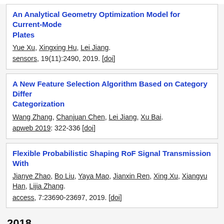An Analytical Geometry Optimization Model for Current-Mode… Plates
Yue Xu, Xingxing Hu, Lei Jiang.
sensors, 19(11):2490, 2019. [doi]
A New Feature Selection Algorithm Based on Category Diffe… Categorization
Wang Zhang, Chanjuan Chen, Lei Jiang, Xu Bai.
apweb 2019: 322-336 [doi]
Flexible Probabilistic Shaping RoF Signal Transmission Wit…
Jianye Zhao, Bo Liu, Yaya Mao, Jianxin Ren, Xing Xu, Xiangyu Han, Lijia Zhang.
access, 7:23690-23697, 2019. [doi]
2018